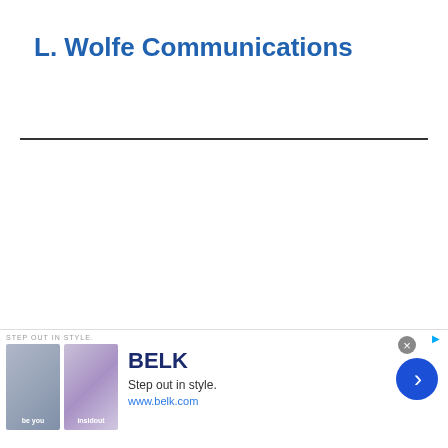L. Wolfe Communications
[Figure (other): Advertisement banner for BELK department store. Shows two thumbnail images on the left, BELK brand name in bold navy, tagline 'Step out in style.' and URL www.belk.com, with a blue circular next arrow button on the right. Header label reads 'STEP OUT IN STYLE'.]